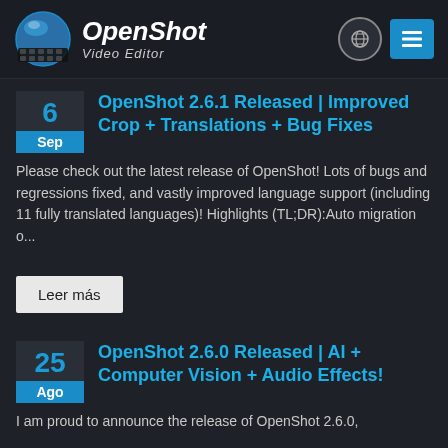[Figure (logo): OpenShot Video Editor logo with blue globe/film reel icon and italic white text 'OpenShot Video Editor']
OpenShot 2.6.1 Released | Improved Crop + Translations + Bug Fixes
Please check out the latest release of OpenShot! Lots of bugs and regressions fixed, and vastly improved language support (including 11 fully translated languages)! Highlights (TL;DR):Auto migration o...
Leer más
OpenShot 2.6.0 Released | AI + Computer Vision + Audio Effects!
I am proud to announce the release of OpenShot 2.6.0,